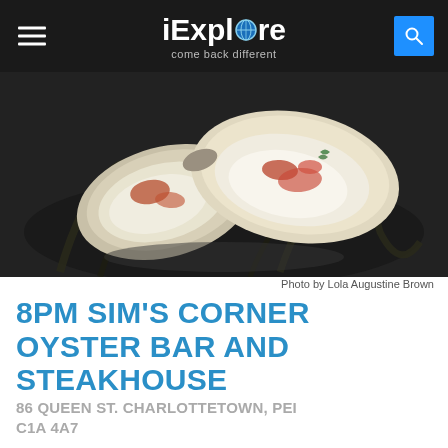iExplore — come back different
[Figure (photo): Two opened oysters on a bed of seaweed/kelp on a dark plate, topped with garnishes. Photo credit: Lola Augustine Brown.]
Photo by Lola Augustine Brown
8PM SIM'S CORNER OYSTER BAR AND STEAKHOUSE
86 QUEEN ST. CHARLOTTETOWN, PEI C1A 4A7